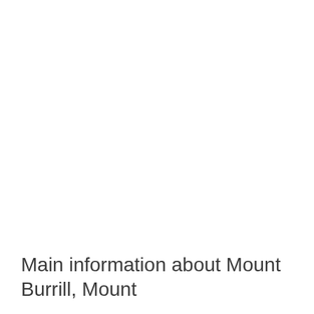Main information about Mount Burrill, Mount